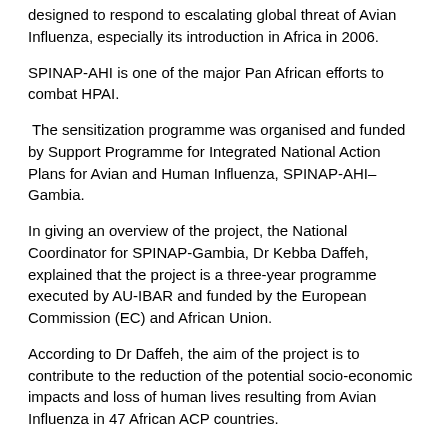designed to respond to escalating global threat of Avian Influenza, especially its introduction in Africa in 2006.
SPINAP-AHI is one of the major Pan African efforts to combat HPAI.
The sensitization programme was organised and funded by Support Programme for Integrated National Action Plans for Avian and Human Influenza, SPINAP-AHI–Gambia.
In giving an overview of the project, the National Coordinator for SPINAP-Gambia, Dr Kebba Daffeh, explained that the project is a three-year programme executed by AU-IBAR and funded by the European Commission (EC) and African Union.
According to Dr Daffeh, the aim of the project is to contribute to the reduction of the potential socio-economic impacts and loss of human lives resulting from Avian Influenza in 47 African ACP countries.